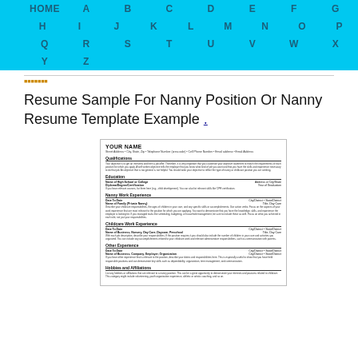HOME A B C D E F G H I J K L M N O P Q R S T U V W X Y Z
Resume Sample For Nanny Position Or Nanny Resume Template Example .
[Figure (illustration): Thumbnail preview of a nanny resume sample document showing YOUR NAME header and various resume sections including Qualifications, Education, Nanny Work Experience, Childcare Work Experience, Other Experience, and Hobbies and Affiliations.]